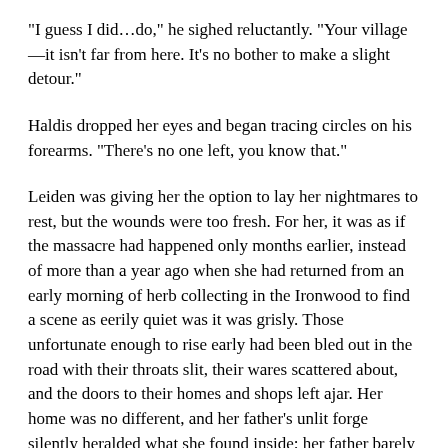“I guess I did…do,” he sighed reluctantly. “Your village—it isn’t far from here. It’s no bother to make a slight detour.”
Haldis dropped her eyes and began tracing circles on his forearms. “There’s no one left, you know that.”
Leiden was giving her the option to lay her nightmares to rest, but the wounds were too fresh. For her, it was as if the massacre had happened only months earlier, instead of more than a year ago when she had returned from an early morning of herb collecting in the Ironwood to find a scene as eerily quiet was it was grisly. Those unfortunate enough to rise early had been bled out in the road with their throats slit, their wares scattered about, and the doors to their homes and shops left ajar. Her home was no different, and her father’s unlit forge silently heralded what she found inside: her father barely visible under a table and pots strewed on the floor around the bodies of her four younger brothers. The memory constantly teased at the edge of consciousness. Haldis inhaled slowly and deeply to calm the familiar anxiety.